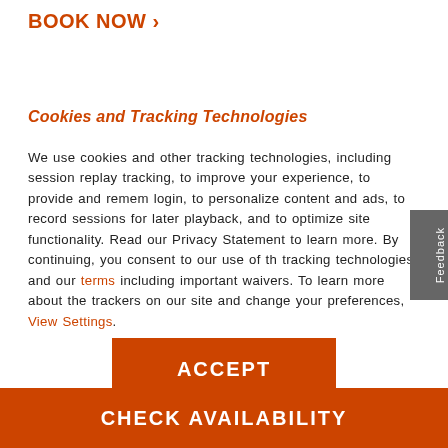BOOK NOW >
Cookies and Tracking Technologies
We use cookies and other tracking technologies, including session replay tracking, to improve your experience, to provide and remember login, to personalize content and ads, to record sessions for later playback, and to optimize site functionality. Read our Privacy Statement to learn more. By continuing, you consent to our use of the tracking technologies and our terms including important waivers. To learn more about the trackers on our site and change your preferences, View Settings.
ACCEPT
CHECK AVAILABILITY